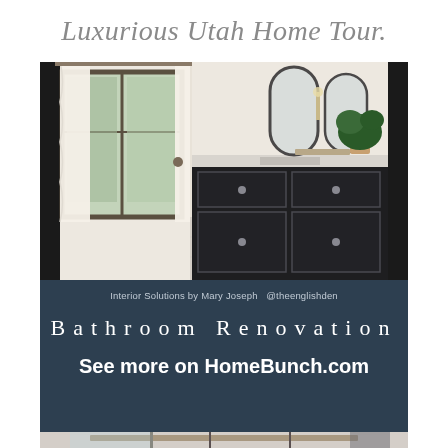Luxurious Utah Home Tour.
[Figure (photo): Bathroom interior with dark navy/black vanity cabinets, arched mirrors, a large sliding glass door with white curtains, and a plant on the countertop. Photo credited to Interior Solutions by Mary Joseph @theenglishden.]
Interior Solutions by Mary Joseph  @theenglishden
Bathroom Renovation
See more on HomeBunch.com
[Figure (photo): Bottom portion of another bathroom interior showing ceiling beams, a glass shower enclosure, and a curtain rod with white curtains.]